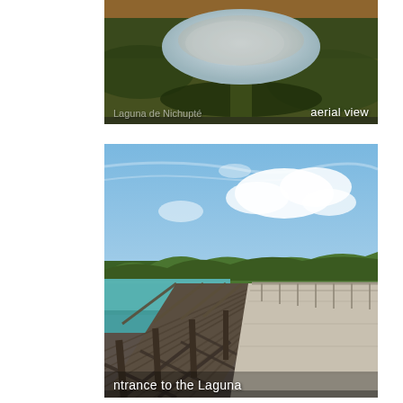[Figure (photo): Aerial view of Laguna de Nichupte showing a large oval-shaped lake surrounded by dense green vegetation/mangroves, photographed from above at dusk or dawn with warm tones. Text overlay reads 'Laguna de Nichupte' and 'aerial view'.]
[Figure (photo): Ground-level view of a wooden bridge/dock entrance to the Laguna. A weathered wooden structure runs diagonally from left, with a concrete walkway on the right side, turquoise water visible, lush green mangroves in the background under a blue sky with white clouds. Text overlay reads 'ntrance to the Laguna'.]
[Figure (photo): Partial view of a third photo at the bottom of the page, cropped.]